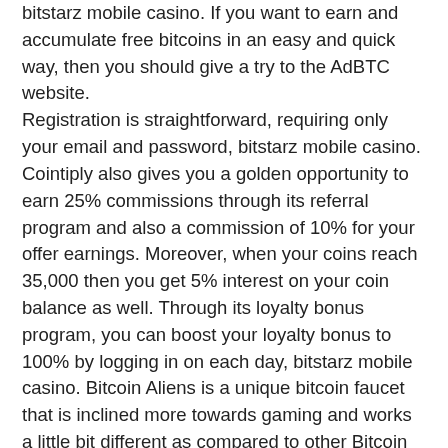bitstarz mobile casino. If you want to earn and accumulate free bitcoins in an easy and quick way, then you should give a try to the AdBTC website. Registration is straightforward, requiring only your email and password, bitstarz mobile casino. Cointiply also gives you a golden opportunity to earn 25% commissions through its referral program and also a commission of 10% for your offer earnings. Moreover, when your coins reach 35,000 then you get 5% interest on your coin balance as well. Through its loyalty bonus program, you can boost your loyalty bonus to 100% by logging in on each day, bitstarz mobile casino. Bitcoin Aliens is a unique bitcoin faucet that is inclined more towards gaming and works a little bit different as compared to other Bitcoin faucets. It is available in the industry since the year 2014 and since its year of establishment, the Bitcoin Aliens games have given away over